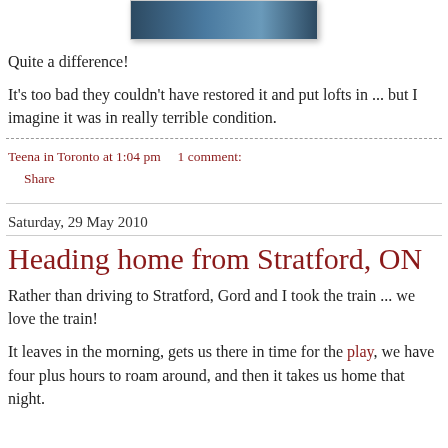[Figure (photo): A nighttime photo of a modern building storefront with large glass windows and lighting, partially visible at the top of the page.]
Quite a difference!
It's too bad they couldn't have restored it and put lofts in ... but I imagine it was in really terrible condition.
Teena in Toronto at 1:04 pm    1 comment:
Share
Saturday, 29 May 2010
Heading home from Stratford, ON
Rather than driving to Stratford, Gord and I took the train ... we love the train!
It leaves in the morning, gets us there in time for the play, we have four plus hours to roam around, and then it takes us home that night.